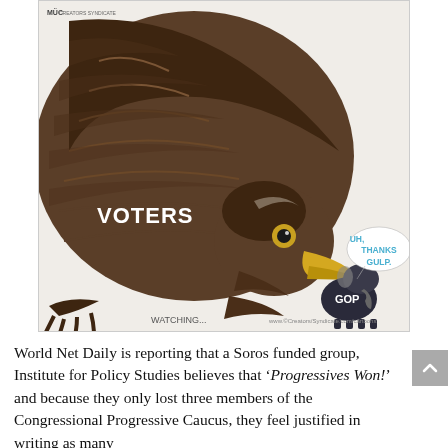[Figure (illustration): Political cartoon showing a large eagle labeled 'VOTERS' confronting a small elephant character labeled 'GOP'. The elephant has a speech bubble saying 'UH, THANKS GULP.' At the bottom of the cartoon is the caption 'WATCHING...' with a website watermark.]
World Net Daily is reporting that a Soros funded group, Institute for Policy Studies believes that 'Progressives Won!' and because they only lost three members of the Congressional Progressive Caucus, they feel justified in writing as many